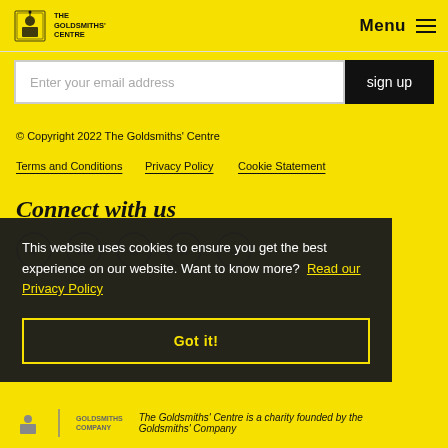The Goldsmiths' Centre | Menu
Enter your email address
sign up
© Copyright 2022 The Goldsmiths' Centre
Terms and Conditions
Privacy Policy
Cookie Statement
Connect with us
This website uses cookies to ensure you get the best experience on our website. Want to know more?  Read our Privacy Policy
Got it!
The Goldsmiths' Centre is a charity founded by the Goldsmiths' Company